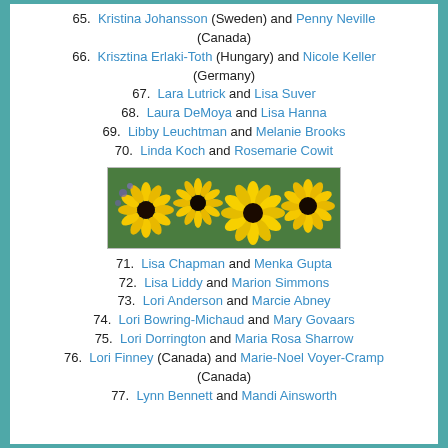65. Kristina Johansson (Sweden) and Penny Neville (Canada)
66. Krisztina Erlaki-Toth (Hungary) and Nicole Keller (Germany)
67. Lara Lutrick and Lisa Suver
68. Laura DeMoya and Lisa Hanna
69. Libby Leuchtman and Melanie Brooks
70. Linda Koch and Rosemarie Cowit
[Figure (photo): Horizontal banner photo of yellow black-eyed Susan flowers with dark centers and green foliage, with some purple flowers visible in the background.]
71. Lisa Chapman and Menka Gupta
72. Lisa Liddy and Marion Simmons
73. Lori Anderson and Marcie Abney
74. Lori Bowring-Michaud and Mary Govaars
75. Lori Dorrington and Maria Rosa Sharrow
76. Lori Finney (Canada) and Marie-Noel Voyer-Cramp (Canada)
77. Lynn Bennett and Mandi Ainsworth